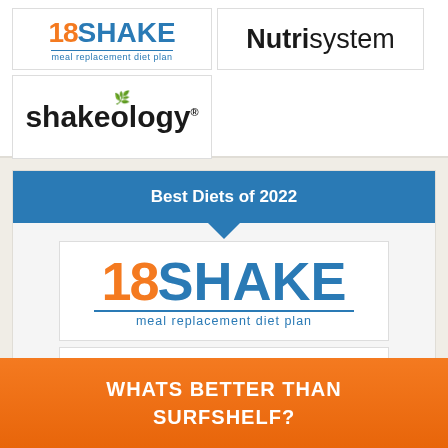[Figure (logo): 18SHAKE meal replacement diet plan logo]
[Figure (logo): Nutrisystem logo]
[Figure (logo): Shakeology logo]
Best Diets of 2022
[Figure (logo): 18SHAKE meal replacement diet plan logo large]
[Figure (logo): Sletrokor diet pills logo with bottle]
WHATS BETTER THAN SURFSHELF?